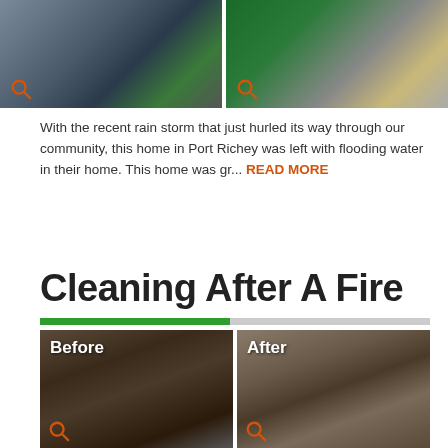[Figure (photo): Before photo - flooded home interior with water on tiled floor]
[Figure (photo): After photo - green air mover/drying equipment placed on tiled floor in kitchen area]
With the recent rain storm that just hurled its way through our community, this home in Port Richey was left with flooding water in their home. This home was gr... READ MORE
Cleaning After A Fire
[Figure (photo): Before - fire damaged room with debris and rubble on floor]
[Figure (photo): After - fire damaged room cleared showing floor debris and structural damage]